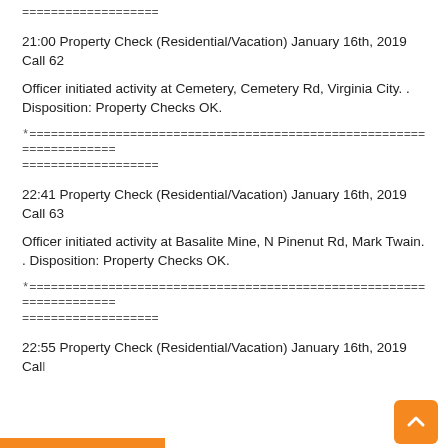===================
21:00 Property Check (Residential/Vacation) January 16th, 2019 Call 62
Officer initiated activity at Cemetery, Cemetery Rd, Virginia City. . Disposition: Property Checks OK.
*=====================================================================
===================
22:41 Property Check (Residential/Vacation) January 16th, 2019 Call 63
Officer initiated activity at Basalite Mine, N Pinenut Rd, Mark Twain. . Disposition: Property Checks OK.
*=====================================================================
===================
22:55 Property Check (Residential/Vacation) January 16th, 2019 Call